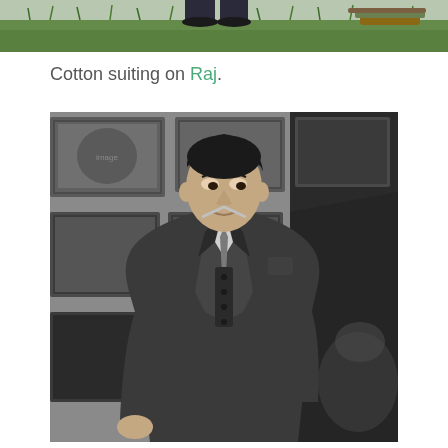[Figure (photo): Top portion of a photo showing grass and legs of a person in dark trousers, cropped at the top of the page]
Cotton suiting on Raj.
[Figure (photo): Black and white photograph of a young man in a three-piece suit with tie, looking downward, standing in front of framed pictures on a wall]